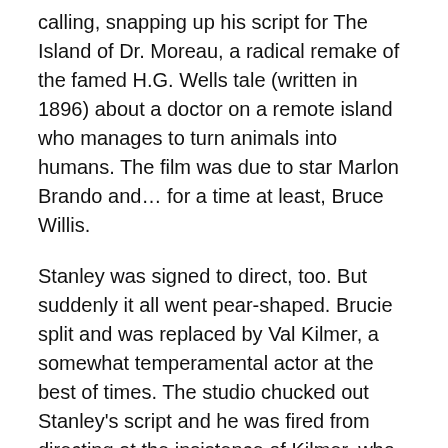calling, snapping up his script for The Island of Dr. Moreau, a radical remake of the famed H.G. Wells tale (written in 1896) about a doctor on a remote island who manages to turn animals into humans. The film was due to star Marlon Brando and… for a time at least, Bruce Willis.
Stanley was signed to direct, too. But suddenly it all went pear-shaped. Brucie split and was replaced by Val Kilmer, a somewhat temperamental actor at the best of times. The studio chucked out Stanley's script and he was fired from directing at the insistence of Kilmer, who reputedly refused to come out of his trailer for 40 days. Must have been luxurious in there, eh?
The resultant movie, directed by John Frankenheimer, contained about two words of Stanley's dialogue and was nominated for a Razzie award as the worst film of 1996, only losing out to Demi Moore's Striptease. What a shame Bruce